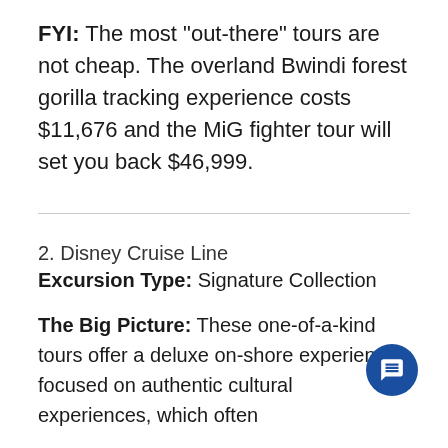FYI: The most "out-there" tours are not cheap. The overland Bwindi forest gorilla tracking experience costs $11,676 and the MiG fighter tour will set you back $46,999.
2. Disney Cruise Line
Excursion Type: Signature Collection
The Big Picture: These one-of-a-kind tours offer a deluxe on-shore experience focused on authentic cultural experiences, which often